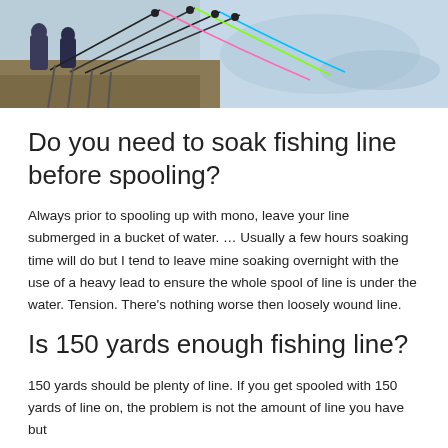[Figure (photo): People fishing at a lake shore with multiple fishing rods set up on rod holders, colorful fishing lines extending toward the water, water reflections visible in the background.]
Do you need to soak fishing line before spooling?
Always prior to spooling up with mono, leave your line submerged in a bucket of water. … Usually a few hours soaking time will do but I tend to leave mine soaking overnight with the use of a heavy lead to ensure the whole spool of line is under the water. Tension. There's nothing worse then loosely wound line.
Is 150 yards enough fishing line?
150 yards should be plenty of line. If you get spooled with 150 yards of line on, the problem is not the amount of line you have but